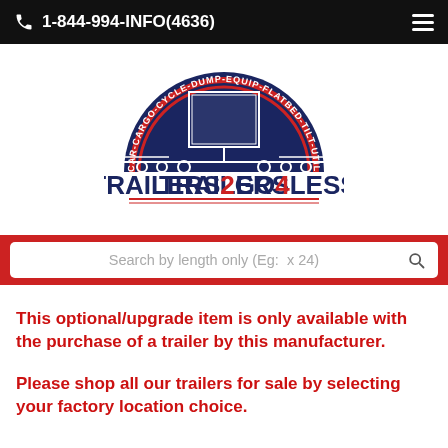1-844-994-INFO(4636)
[Figure (logo): Trailers2Go4Less logo with semicircular dark blue background showing trailers, red rainbow arc, text around arc: CAR-CARGO-CYCLE-DUMP-EQUIP-FLATBED-TILT-UTILITY, and bold text TRAILERS2GO4LESS below]
Search by length only (Eg:  x 24)
This optional/upgrade item is only available with the purchase of a trailer by this manufacturer.
Please shop all our trailers for sale by selecting your factory location choice.